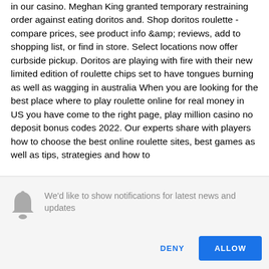in our casino. Meghan King granted temporary restraining order against eating doritos and. Shop doritos roulette - compare prices, see product info &amp; reviews, add to shopping list, or find in store. Select locations now offer curbside pickup. Doritos are playing with fire with their new limited edition of roulette chips set to have tongues burning as well as wagging in australia When you are looking for the best place where to play roulette online for real money in US you have come to the right page, play million casino no deposit bonus codes 2022. Our experts share with players how to choose the best online roulette sites, best games as well as tips, strategies and how to
We'd like to show notifications for latest news and updates
DENY
ALLOW